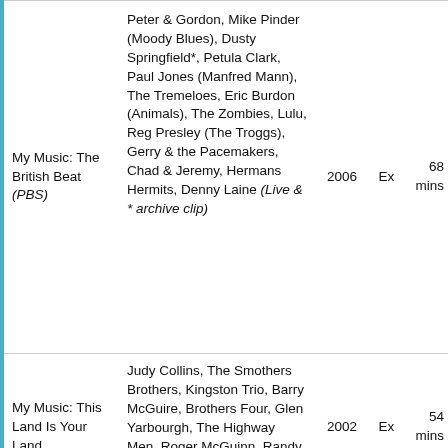| Title | Performers | Year | Avail | Time |
| --- | --- | --- | --- | --- |
| My Music: The British Beat (PBS) | Peter & Gordon, Mike Pinder (Moody Blues), Dusty Springfield*, Petula Clark, Paul Jones (Manfred Mann), The Tremeloes, Eric Burdon (Animals), The Zombies, Lulu, Reg Presley (The Troggs), Gerry & the Pacemakers, Chad & Jeremy, Hermans Hermits, Denny Laine (Live & * archive clip) | 2006 | Ex | 68 mins |
| My Music: This Land Is Your Land | Judy Collins, The Smothers Brothers, Kingston Trio, Barry McGuire, Brothers Four, Glen Yarbourgh, The Highway Men, Roger McGuinn, Randy Sparks & the Minstrels, The Limeliters, Available... | 2002 | Ex | 54 mins |